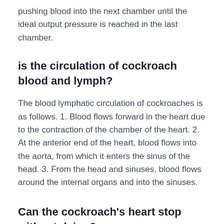pushing blood into the next chamber until the ideal output pressure is reached in the last chamber.
is the circulation of cockroach blood and lymph?
The blood lymphatic circulation of cockroaches is as follows. 1. Blood flows forward in the heart due to the contraction of the chamber of the heart. 2. At the anterior end of the heart, blood flows into the aorta, from which it enters the sinus of the head. 3. From the head and sinuses, blood flows around the internal organs and into the sinuses.
Can the cockroach's heart stop without dying?
The heart is tubular and can stop the heart without the